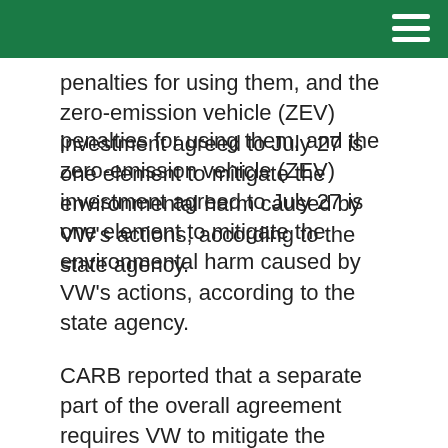penalties for using them, and the zero-emission vehicle (ZEV) investment agreed to July 27 is one element to mitigate the environmental harm caused by VW's actions, according to the state agency.
CARB reported that a separate part of the overall agreement requires VW to mitigate the excess NOx emissions of its diesel passenger cars by paying about $422 million to California to replace older, dirtier, heavy-duty vehicles and equipment with cleaner versions; the agreement requires VW to buy back or fix affected vehicles and to pay $153.8 million to the state in penalties. The $800 million ZEV investment commitment is part of an agreement by the company with CARB, federal EPA, the California Department of Justice, and the